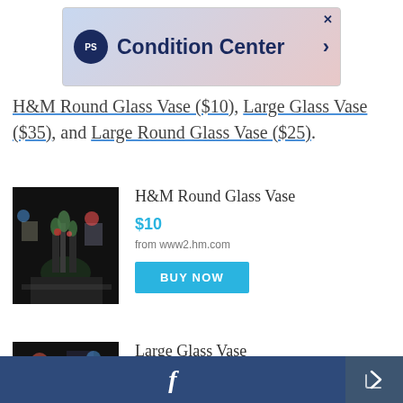[Figure (screenshot): Advertisement banner for PS Condition Center with logo and arrow]
H&M Round Glass Vase ($10), Large Glass Vase ($35), and Large Round Glass Vase ($25).
H&M Round Glass Vase
$10
from www2.hm.com
[Figure (photo): Product photo of H&M Round Glass Vase with dark background showing flowers in glass vases]
Large Glass Vase
$35
[Figure (photo): Product photo of Large Glass Vase with dark background]
Facebook share bar and action button